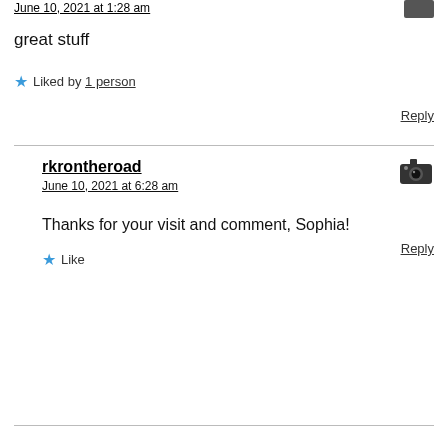June 10, 2021 at 1:28 am
great stuff
★ Liked by 1 person
Reply
rkrontheroad
June 10, 2021 at 6:28 am
Thanks for your visit and comment, Sophia!
★ Like
Reply